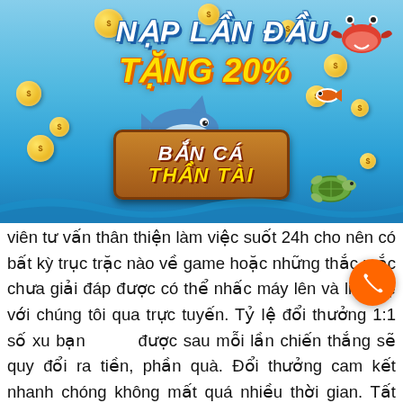[Figure (illustration): Promotional banner for 'Bắn Cá Thần Tài' (Fish Shooting God of Fortune) mobile game. Features: text 'NẠP LẦN ĐẦU TẶNG 20%' (First deposit gift 20%), game logo 'BẮN CÁ THẦN TÀI', cartoon shark, crab, turtle, and gold coins on ocean background.]
viên tư vấn thân thiện làm việc suốt 24h cho nên có bất kỳ trục trặc nào về game hoặc những thắc mắc chưa giải đáp được có thể nhấc máy lên và liên hệ với chúng tôi qua trực tuyến. Tỷ lệ đổi thưởng 1:1 số xu bạn được sau mỗi lần chiến thắng sẽ quy đổi ra tiền, phần quà. Đổi thưởng cam kết nhanh chóng không mất quá nhiều thời gian. Tất nhiên sẽ không bắt buộc khách hàng đổi thưởng khi chưa đến lúc và tất hàng